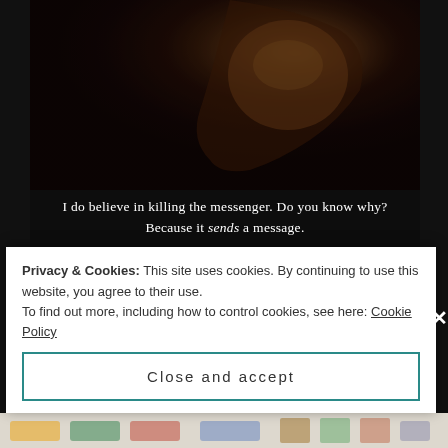[Figure (photo): Dark dramatic photo of a person (Ian Somerhalder as Damon Salvatore) looking down, lit with warm amber/orange tones against a dark background]
I do believe in killing the messenger. Do you know why? Because it sends a message.
Dont get me wrong here!  I love TV Damon. When I started watching the TV series, I was impressed with how dead nuts Ian Somerhalder nailed Damon's personality.  He's perfect.  I just wish he was a little more………you know………grr.  The TV series version of
Privacy & Cookies: This site uses cookies. By continuing to use this website, you agree to their use.
To find out more, including how to control cookies, see here: Cookie Policy
Close and accept